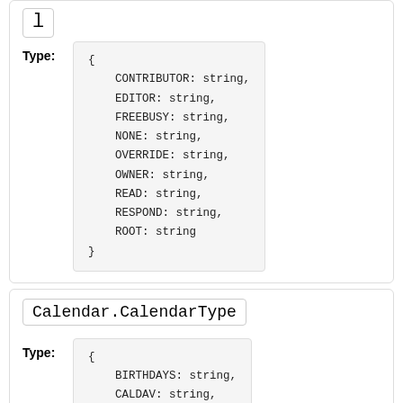l
Type: {
    CONTRIBUTOR: string,
    EDITOR: string,
    FREEBUSY: string,
    NONE: string,
    OVERRIDE: string,
    OWNER: string,
    READ: string,
    RESPOND: string,
    ROOT: string
}
Calendar.CalendarType
Type: {
    BIRTHDAYS: string,
    CALDAV: string,
}